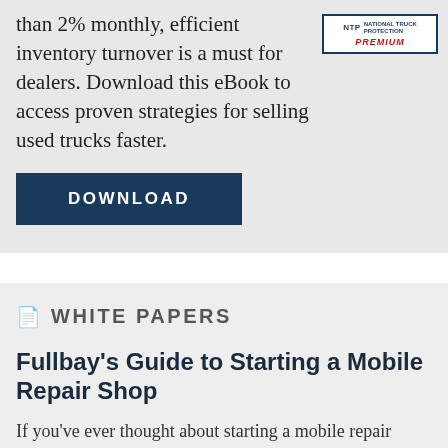than 2% monthly, efficient inventory turnover is a must for dealers. Download this eBook to access proven strategies for selling used trucks faster.
[Figure (logo): NTP National Truck Protection and Premium logos side by side with a blue border]
DOWNLOAD
WHITE PAPERS
Fullbay's Guide to Starting a Mobile Repair Shop
If you've ever thought about starting a mobile repair business or adding a mobile tech to your shop, you need to read this guide.